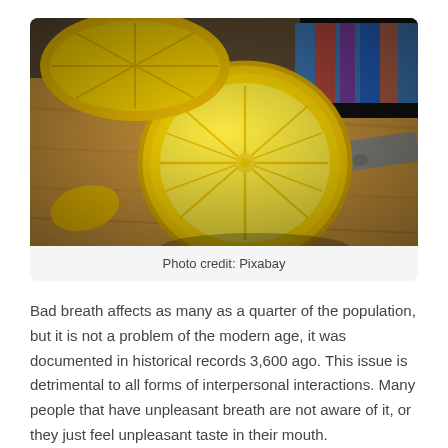[Figure (photo): Close-up photo of a halved lemon on a wooden cutting board, with another lemon and a knife visible in the background, along with a colorful cloth.]
Photo credit: Pixabay
Bad breath affects as many as a quarter of the population, but it is not a problem of the modern age, it was documented in historical records 3,600 ago. This issue is detrimental to all forms of interpersonal interactions. Many people that have unpleasant breath are not aware of it, or they just feel unpleasant taste in their mouth.